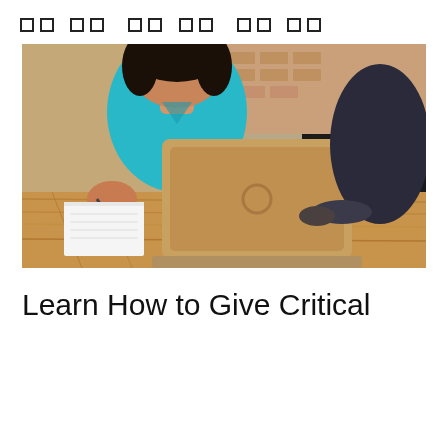□□ □□   □□ □□   □□ □□
[Figure (photo): Two people sitting at a wooden table. A woman in a teal/turquoise short-sleeve top is writing on a notepad with a pen. In the center of the table is a Dell laptop with a gold/bronze lid. On the right side, another person in dark clothing is visible. Background shows a dark bookcase/shelving unit and a brick wall.]
Learn How to Give Critical